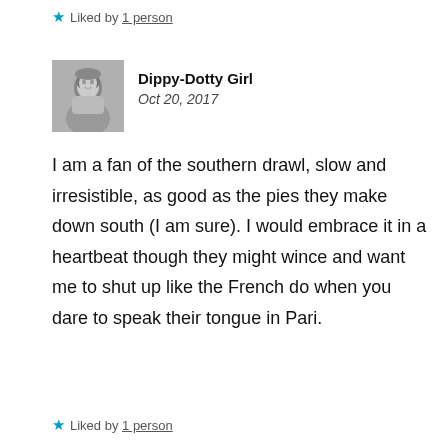★ Liked by 1 person
Dippy-Dotty Girl
Oct 20, 2017
I am a fan of the southern drawl, slow and irresistible, as good as the pies they make down south (I am sure). I would embrace it in a heartbeat though they might wince and want me to shut up like the French do when you dare to speak their tongue in Pari.
★ Liked by 1 person